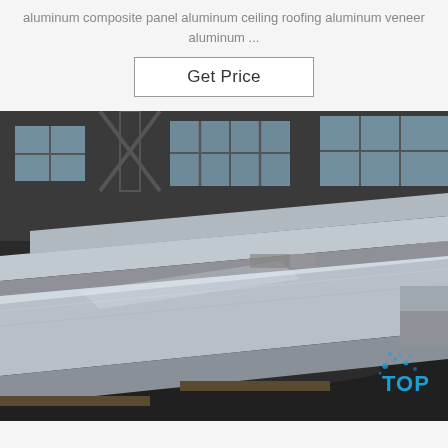aluminum composite panel aluminum ceiling roofing aluminum veneer aluminum ...
Get Price
[Figure (photo): Industrial warehouse interior showing large aluminum billets or slabs stacked on the floor. The metallic silver slabs are long and rectangular, stacked in rows. Large windows visible in the background. A blue logo with 'TOP' text is visible in the lower right corner.]